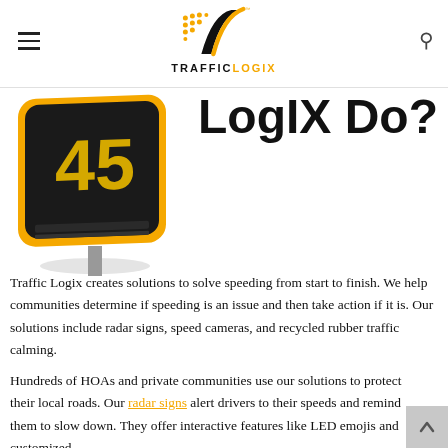TRAFFIC LOGIX
[Figure (photo): A radar speed sign displaying the number 45, with a yellow border and black background, mounted on a post, shown at an angle.]
LogIX Do?
Traffic Logix creates solutions to solve speeding from start to finish. We help communities determine if speeding is an issue and then take action if it is. Our solutions include radar signs, speed cameras, and recycled rubber traffic calming.
Hundreds of HOAs and private communities use our solutions to protect their local roads. Our radar signs alert drivers to their speeds and remind them to slow down. They offer interactive features like LED emojis and customized